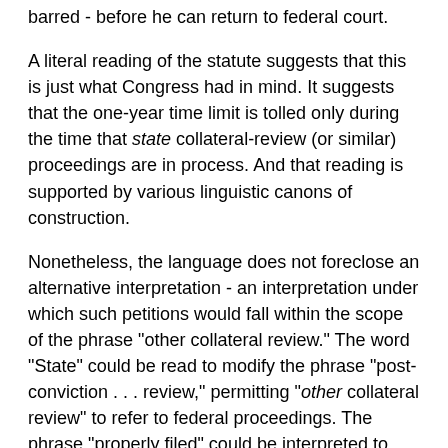barred - before he can return to federal court.
A literal reading of the statute suggests that this is just what Congress had in mind. It suggests that the one-year time limit is tolled only during the time that state collateral-review (or similar) proceedings are in process. And that reading is supported by various linguistic canons of construction.
Nonetheless, the language does not foreclose an alternative interpretation - an interpretation under which such petitions would fall within the scope of the phrase "other collateral review." The word "State" could be read to modify the phrase "post-conviction . . . review," permitting "other collateral review" to refer to federal proceedings. The phrase "properly filed" could be interpreted to refer to purely formal filing requirements rather than calling into play more important remedial questions such as the presence or absence of "exhaustion." A purposive approach favors this latter linguistic interpretation.